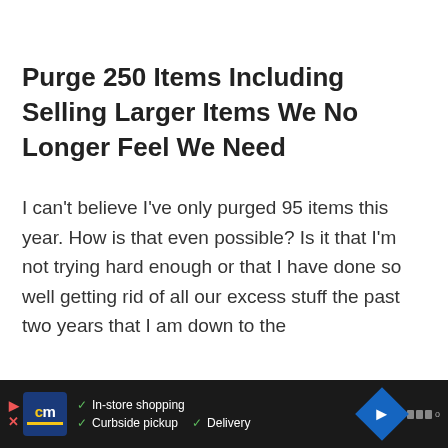Purge 250 Items Including Selling Larger Items We No Longer Feel We Need
I can't believe I've only purged 95 items this year. How is that even possible? Is it that I'm not trying hard enough or that I have done so well getting rid of all our excess stuff the past two years that I am down to the
[Figure (other): Advertisement banner at bottom: dark background with CM logo (blue square with yellow underline), checkmarks listing 'In-store shopping', 'Curbside pickup', 'Delivery', a blue diamond navigation icon, and a Waldo-style app icon.]